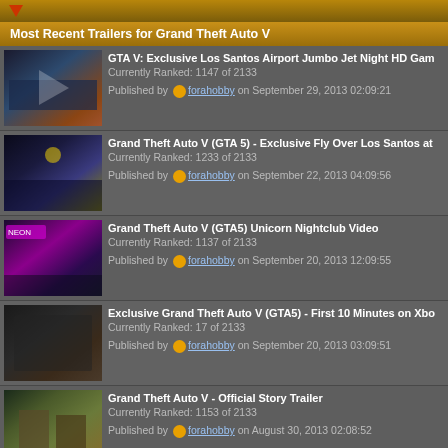Most Recent Trailers for Grand Theft Auto V
GTA V: Exclusive Los Santos Airport Jumbo Jet Night HD Gam... | Currently Ranked: 1147 of 2133 | Published by forahobby on September 29, 2013 02:09:21
Grand Theft Auto V (GTA 5) - Exclusive Fly Over Los Santos at... | Currently Ranked: 1233 of 2133 | Published by forahobby on September 22, 2013 04:09:56
Grand Theft Auto V (GTA5) Unicorn Nightclub Video | Currently Ranked: 1137 of 2133 | Published by forahobby on September 20, 2013 12:09:55
Exclusive Grand Theft Auto V (GTA5) - First 10 Minutes on Xbo... | Currently Ranked: 17 of 2133 | Published by forahobby on September 20, 2013 03:09:51
Grand Theft Auto V - Official Story Trailer | Currently Ranked: 1153 of 2133 | Published by forahobby on August 30, 2013 02:08:52
View All Videos for Grand Theft Auto V (12)
Grand Theft Auto V Achievements (49)